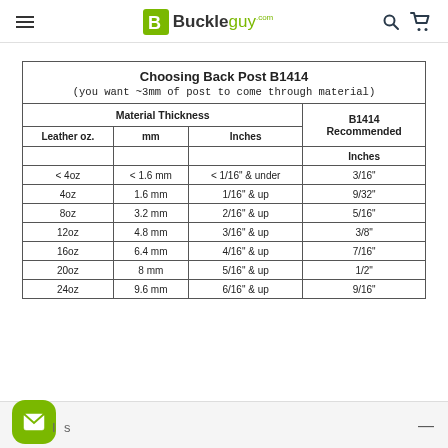Buckleguy.com
| Leather oz. | mm | Inches | B1414 Recommended Inches |
| --- | --- | --- | --- |
| < 4oz | < 1.6 mm | < 1/16" & under | 3/16" |
| 4oz | 1.6 mm | 1/16" & up | 9/32" |
| 8oz | 3.2 mm | 2/16" & up | 5/16" |
| 12oz | 4.8 mm | 3/16" & up | 3/8" |
| 16oz | 6.4 mm | 4/16" & up | 7/16" |
| 20oz | 8 mm | 5/16" & up | 1/2" |
| 24oz | 9.6 mm | 6/16" & up | 9/16" |